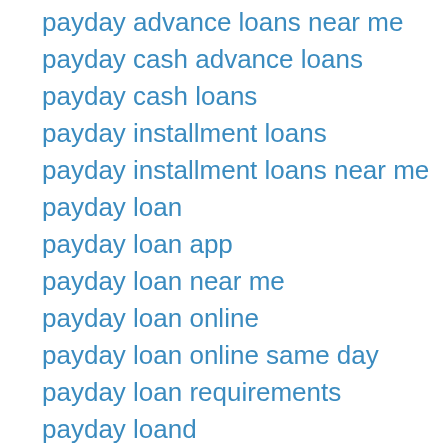payday advance loans near me
payday cash advance loans
payday cash loans
payday installment loans
payday installment loans near me
payday loan
payday loan app
payday loan near me
payday loan online
payday loan online same day
payday loan requirements
payday loand
payday loans
payday loans com
payday loans near me